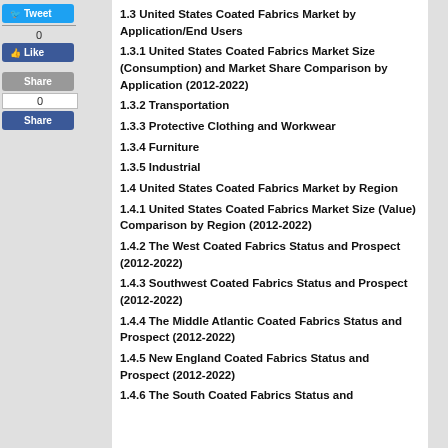1.3 United States Coated Fabrics Market by Application/End Users
1.3.1 United States Coated Fabrics Market Size (Consumption) and Market Share Comparison by Application (2012-2022)
1.3.2 Transportation
1.3.3 Protective Clothing and Workwear
1.3.4 Furniture
1.3.5 Industrial
1.4 United States Coated Fabrics Market by Region
1.4.1 United States Coated Fabrics Market Size (Value) Comparison by Region (2012-2022)
1.4.2 The West Coated Fabrics Status and Prospect (2012-2022)
1.4.3 Southwest Coated Fabrics Status and Prospect (2012-2022)
1.4.4 The Middle Atlantic Coated Fabrics Status and Prospect (2012-2022)
1.4.5 New England Coated Fabrics Status and Prospect (2012-2022)
1.4.6 The South Coated Fabrics Status and